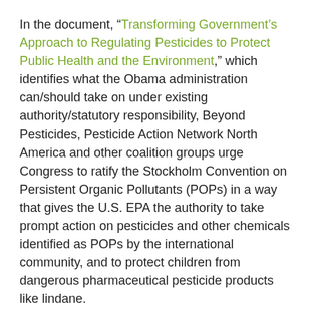In the document, “Transforming Government’s Approach to Regulating Pesticides to Protect Public Health and the Environment,” which identifies what the Obama administration can/should take on under existing authority/statutory responsibility, Beyond Pesticides, Pesticide Action Network North America and other coalition groups urge Congress to ratify the Stockholm Convention on Persistent Organic Pollutants (POPs) in a way that gives the U.S. EPA the authority to take prompt action on pesticides and other chemicals identified as POPs by the international community, and to protect children from dangerous pharmaceutical pesticide products like lindane.
Source: Reuters, MSNBC World News
Posted on May 13, 2009 (September 28, 2021)
Posted in World News, News, Tagged...